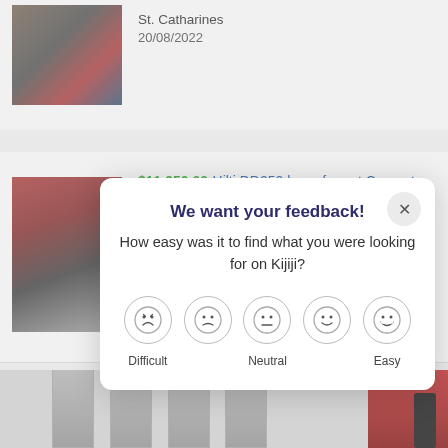[Figure (photo): Partial product listing thumbnail – power tool on blue background]
St. Catharines
20/08/2022
[Figure (photo): Hilti DD250 concrete coring drill machine listing thumbnail]
$11,950.00 Hilti DD250 large format Concrete Coring Drill Package
Shipping by seller
Featured
[Figure (photo): Bottom strip showing saw blades and red power tool]
[Figure (screenshot): Feedback modal overlay asking 'We want your feedback! How easy was it to find what you were looking for on Kijiji?' with 5 smiley face rating options from Difficult to Easy]